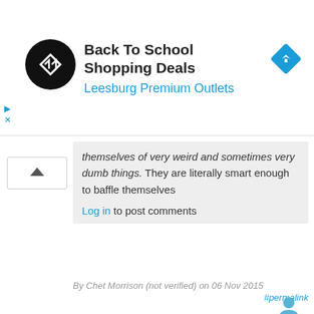[Figure (screenshot): Advertisement banner: Back To School Shopping Deals at Leesburg Premium Outlets with logo and navigation icon]
themselves of very weird and sometimes very dumb things. They are literally smart enough to baffle themselves
Log in to post comments
By Chet Morrison (not verified) on 06 Nov 2015
#permalink
And here is a useful link
https://www.ted.com/talks/michael_shermer_on_believing_s l...
Log in to post comments
By Chet Morrison (not verified) on 06 Nov 2015